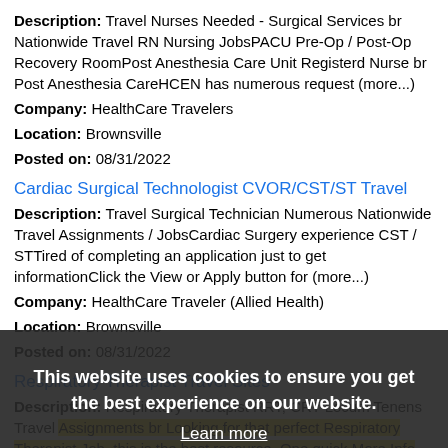Description: Travel Nurses Needed - Surgical Services br Nationwide Travel RN Nursing JobsPACU Pre-Op / Post-Op Recovery RoomPost Anesthesia Care Unit Registerd Nurse br Post Anesthesia CareHCEN has numerous request (more...)
Company: HealthCare Travelers
Location: Brownsville
Posted on: 08/31/2022
Cardiac Surgical Technologist CVOR/CST/ST Travel
Description: Travel Surgical Technician Numerous Nationwide Travel Assignments / JobsCardiac Surgery experience CST / STTired of completing an application just to get informationClick the View or Apply button for (more...)
Company: HealthCare Traveler (Allied Health)
Location: Brownsville
Posted on: 08/31/2022
Respiratory Therapist Travel Sites
Description: Respiratory Therapist RRT, CRT Locum Tenens Travel Assignments br Looking for that perfect Respiratory Therapist Job, this is the best resource. One quick More Info Request gets you in front of the (more...)
Company: HealthCare Traveler (Allied Health)
Location: Brownsville
This website uses cookies to ensure you get the best experience on our website. Learn more Got it!